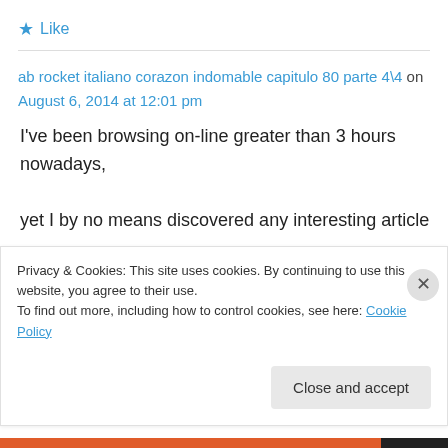★ Like
ab rocket italiano corazon indomable capitulo 80 parte 4\4 on August 6, 2014 at 12:01 pm
I've been browsing on-line greater than 3 hours nowadays, yet I by no means discovered any interesting article like yours. It's beautiful worth enough for me.
Privacy & Cookies: This site uses cookies. By continuing to use this website, you agree to their use.
To find out more, including how to control cookies, see here: Cookie Policy